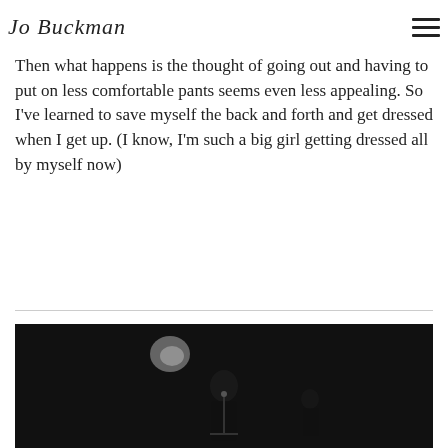Jo Buckman
after that for a few hours before I change back into PJs to go to bed. Seems pointless.
Then what happens is the thought of going out and having to put on less comfortable pants seems even less appealing. So I've learned to save myself the back and forth and get dressed when I get up. (I know, I'm such a big girl getting dressed all by myself now)
[Figure (photo): Black and white photograph of a person on a dark stage, partially illuminated, with a microphone stand visible]